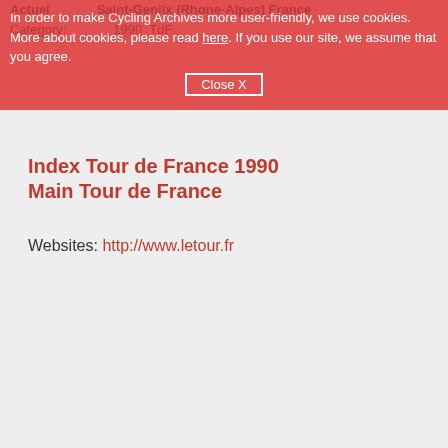In order to make Cycling Archives more user-friendly, we use cookies. More about cookies, please read here. If you use our site, we assume that you agree. Close X
Index Tour de France 1990
Main Tour de France
Websites: http://www.letour.fr